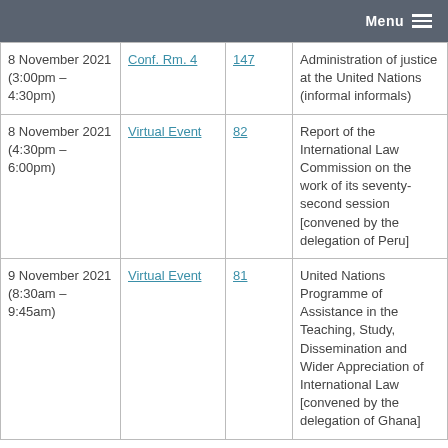Menu
| Date | Location | Doc No. | Description |
| --- | --- | --- | --- |
| 8 November 2021 (3:00pm – 4:30pm) | Conf. Rm. 4 | 147 | Administration of justice at the United Nations (informal informals) |
| 8 November 2021 (4:30pm – 6:00pm) | Virtual Event | 82 | Report of the International Law Commission on the work of its seventy-second session [convened by the delegation of Peru] |
| 9 November 2021 (8:30am – 9:45am) | Virtual Event | 81 | United Nations Programme of Assistance in the Teaching, Study, Dissemination and Wider Appreciation of International Law [convened by the delegation of Ghana] |